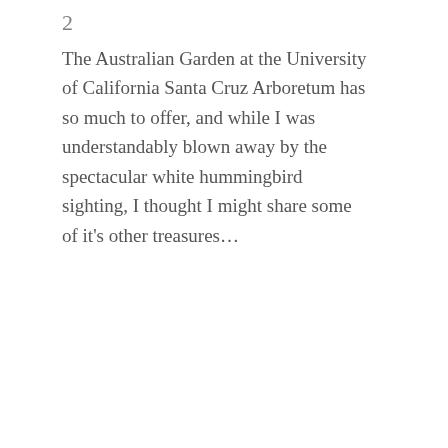2
The Australian Garden at the University of California Santa Cruz Arboretum has so much to offer, and while I was understandably blown away by the spectacular white hummingbird sighting, I thought I might share some of it’s other treasures…